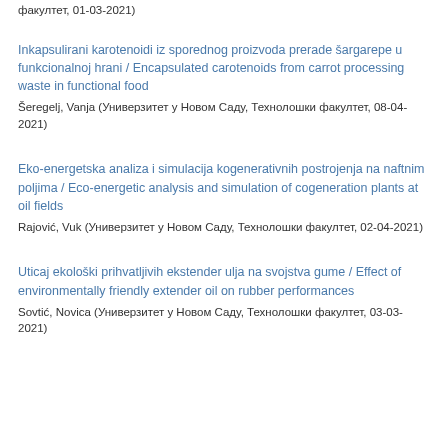факултет, 01-03-2021)
Inkapsulirani karotenoidi iz sporednog proizvoda prerade šargarepe u funkcionalnoj hrani / Encapsulated carotenoids from carrot processing waste in functional food
Šeregelj, Vanja (Универзитет у Новом Саду, Технолошки факултет, 08-04-2021)
Eko-energetska analiza i simulacija kogenerativnih postrojenja na naftnim poljima / Eco-energetic analysis and simulation of cogeneration plants at oil fields
Rajović, Vuk (Универзитет у Новом Саду, Технолошки факултет, 02-04-2021)
Uticaj ekološki prihvatljivih ekstender ulja na svojstva gume / Effect of environmentally friendly extender oil on rubber performances
Sovtić, Novica (Универзитет у Новом Саду, Технолошки факултет, 03-03-2021)